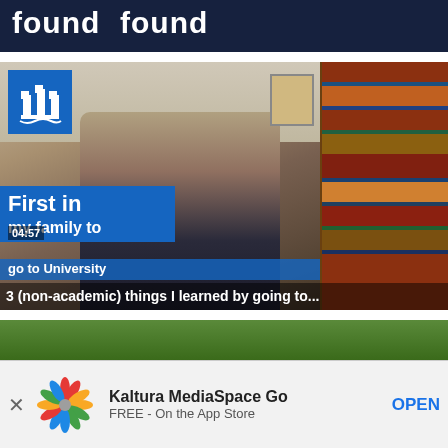[Figure (screenshot): Partial video thumbnail showing white bold text 'found' on dark blue background]
[Figure (screenshot): Video thumbnail showing a person (light-haired, glasses) seated at a desk in front of a bookshelf. University logo (blue square with castle icon) in top-left. Blue banner overlay reads 'First in my family to go to University'. Timestamp 04:57. Overlay text: '3 (non-academic) things I learned by going to...']
[Figure (screenshot): Partial bottom video thumbnail showing outdoor greenery scene]
Kaltura MediaSpace Go
FREE - On the App Store
OPEN